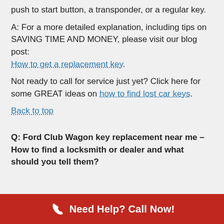push to start button, a transponder, or a regular key.
A: For a more detailed explanation, including tips on SAVING TIME AND MONEY, please visit our blog post: How to get a replacement key.
Not ready to call for service just yet? Click here for some GREAT ideas on how to find lost car keys.
Back to top
Q: Ford Club Wagon key replacement near me – How to find a locksmith or dealer and what should you tell them?
Need Help? Call Now!